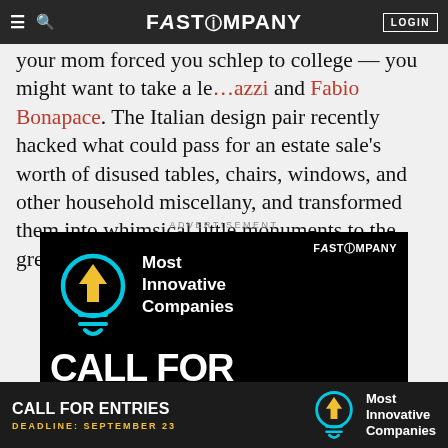FAST COMPANY — navigation bar with hamburger, search, logo, and LOGIN button
your mom forced you schlep to college — you might want to take a leaf from Balzaretti and Fabio Bonapace. The Italian design pair recently hacked what could pass for an estate sale's worth of disused tables, chairs, windows, and other household miscellany, and transformed them into whimsical little monuments to the great outdoors.
ADVERTISEMENT
[Figure (infographic): Fast Company advertisement for Most Innovative Companies Call for Entries, black background with cyan/yellow lightbulb icon and large white text reading CALL FOR ENTRIES]
[Figure (infographic): Sticky bottom bar advertisement: CALL FOR ENTRIES, DEADLINE: SEPTEMBER 23, Most Innovative Companies lightbulb icon]